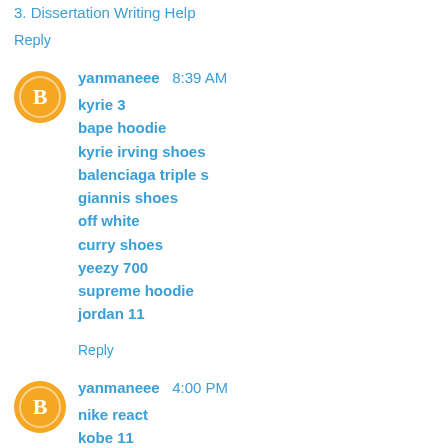3. Dissertation Writing Help
Reply
yanmaneee  8:39 AM
kyrie 3
bape hoodie
kyrie irving shoes
balenciaga triple s
giannis shoes
off white
curry shoes
yeezy 700
supreme hoodie
jordan 11
Reply
yanmaneee  4:00 PM
nike react
kobe 11